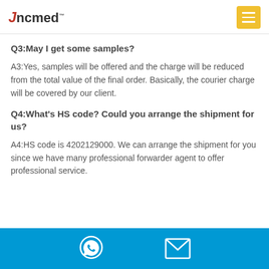Jncmed
Q3:May I get some samples?
A3:Yes, samples will be offered and the charge will be reduced from the total value of the final order. Basically, the courier charge will be covered by our client.
Q4:What’s HS code? Could you arrange the shipment for us?
A4:HS code is 4202129000. We can arrange the shipment for you since we have many professional forwarder agent to offer professional service.
WhatsApp and Email contact icons